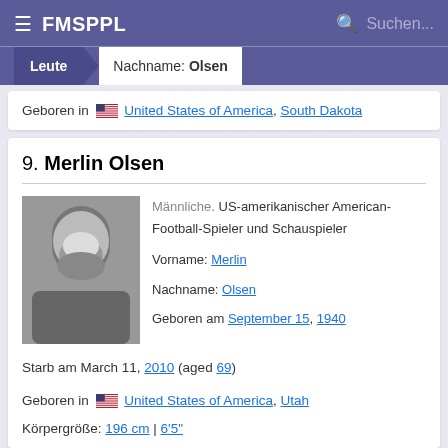FMSPPL — Suchen...
Leute > Nachname: Olsen
Geboren in United States of America, South Dakota
9. Merlin Olsen
Männliche. US-amerikanischer American-Football-Spieler und Schauspieler
Vorname: Merlin
Nachname: Olsen
Geboren am September 15, 1940
Starb am March 11, 2010 (aged 69)
Geboren in United States of America, Utah
Körpergröße: 196 cm | 6'5"